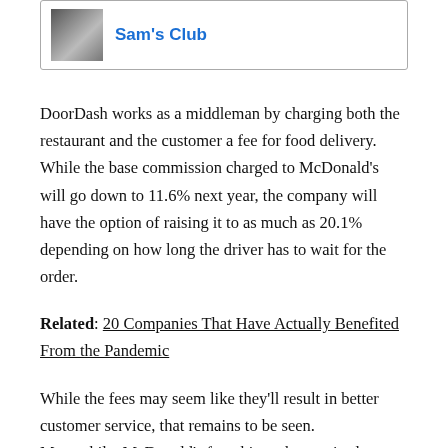[Figure (other): Sam's Club logo card with small storefront photo thumbnail and bold blue text reading Sam's Club]
DoorDash works as a middleman by charging both the restaurant and the customer a fee for food delivery. While the base commission charged to McDonald's will go down to 11.6% next year, the company will have the option of raising it to as much as 20.1% depending on how long the driver has to wait for the order.
Related: 20 Companies That Have Actually Benefited From the Pandemic
While the fees may seem like they'll result in better customer service, that remains to be seen. Meanwhile, McDonald's franchisees have raised concerns about...